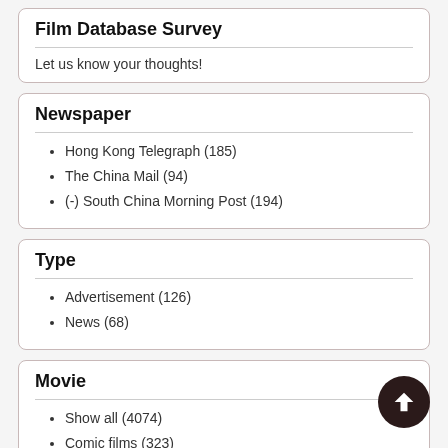Film Database Survey
Let us know your thoughts!
Newspaper
Hong Kong Telegraph (185)
The China Mail (94)
(-) South China Morning Post (194)
Type
Advertisement (126)
News (68)
Movie
Show all (4074)
Comic films (323)
Comics (268)
British Gazette (196)